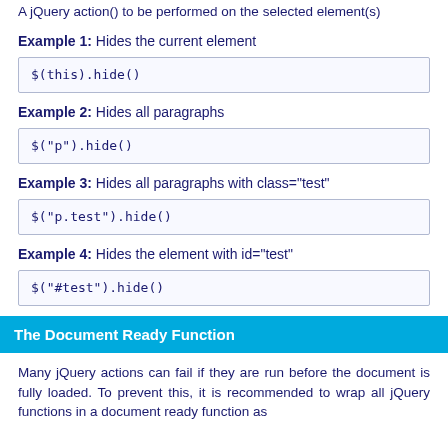A jQuery action() to be performed on the selected element(s)
Example 1: Hides the current element
Example 2: Hides all paragraphs
Example 3: Hides all paragraphs with class="test"
Example 4: Hides the element with id="test"
The Document Ready Function
Many jQuery actions can fail if they are run before the document is fully loaded. To prevent this, it is recommended to wrap all jQuery functions in a document ready function as